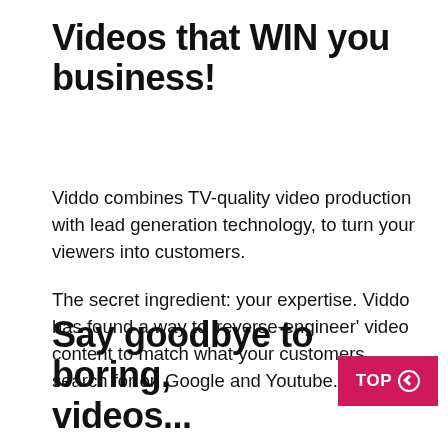Videos that WIN you business!
Viddo combines TV-quality video production with lead generation technology, to turn your viewers into customers.

The secret ingredient: your expertise. Viddo has found a way to ‘reverse-engineer’ video content to match what your customers search for on Google and Youtube.
Say goodbye to boring, videos...